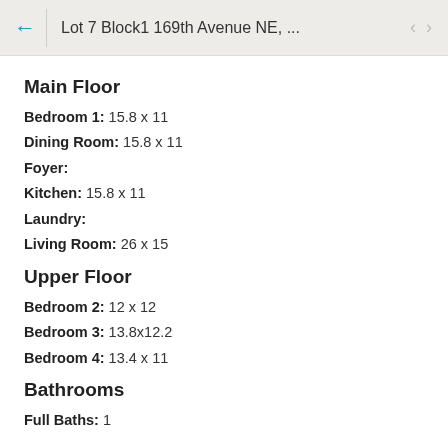Lot 7 Block1 169th Avenue NE, ...
Main Floor
Bedroom 1: 15.8 x 11
Dining Room: 15.8 x 11
Foyer:
Kitchen: 15.8 x 11
Laundry:
Living Room: 26 x 15
Upper Floor
Bedroom 2: 12 x 12
Bedroom 3: 13.8x12.2
Bedroom 4: 13.4 x 11
Bathrooms
Full Baths: 1